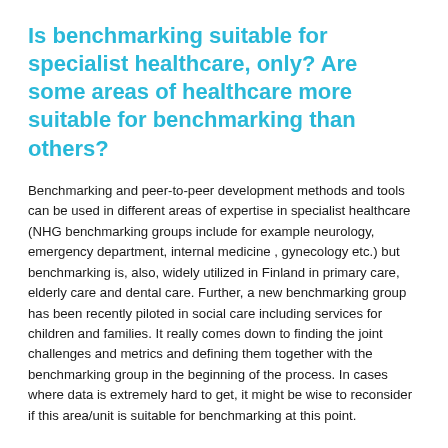Is benchmarking suitable for specialist healthcare, only? Are some areas of healthcare more suitable for benchmarking than others?
Benchmarking and peer-to-peer development methods and tools can be used in different areas of expertise in specialist healthcare (NHG benchmarking groups include for example neurology, emergency department, internal medicine , gynecology etc.) but benchmarking is, also, widely utilized in Finland in primary care, elderly care and dental care. Further, a new benchmarking group has been recently piloted in social care including services for children and families. It really comes down to finding the joint challenges and metrics and defining them together with the benchmarking group in the beginning of the process. In cases where data is extremely hard to get, it might be wise to reconsider if this area/unit is suitable for benchmarking at this point.